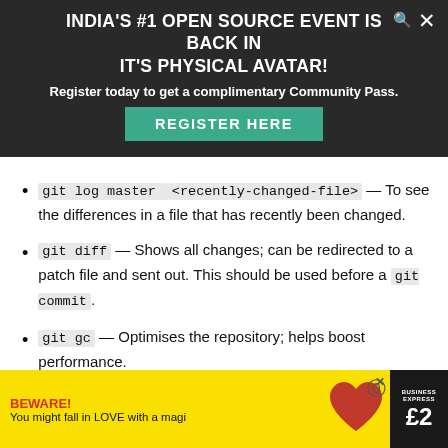INDIA'S #1 OPEN SOURCE EVENT IS BACK IN IT'S PHYSICAL AVATAR!
Register today to get a complimentary Community Pass.
REGISTER HERE
git log master <recently-changed-file> — To see the differences in a file that has recently been changed.
git diff — Shows all changes; can be redirected to a patch file and sent out. This should be used before a git commit.
git gc — Optimises the repository; helps boost performance.
If you have done your changes in a different branch and want to merge t following c
[Figure (infographic): Bottom advertisement banner with yellow background, BEWARE! text in red, 'You might fall in LOVE with a magi' subtitle, red heart graphic, and magazine cover with Express logo and price.]